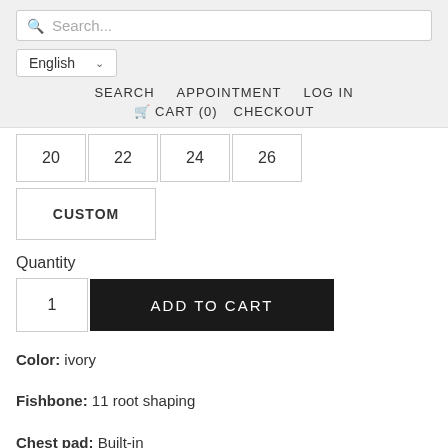Search... | English | SEARCH APPOINTMENT LOG IN | CART (0) CHECKOUT
20  22  24  26
CUSTOM
Quantity
1  ADD TO CART
Color: ivory
Fishbone: 11 root shaping
Chest pad: Built-in
Gown layers: 4 (From outside to inside) – 1 layer of imported applique lace and hem lace, 1